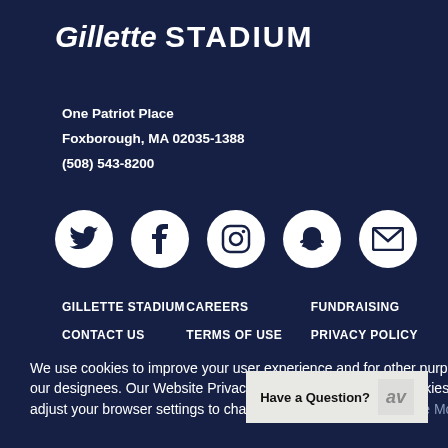Gillette STADIUM
One Patriot Place
Foxborough, MA 02035-1388
(508) 543-8200
[Figure (illustration): Five white circular social media icons on dark navy background: Twitter (bird), Facebook (f), Instagram (camera), Snapchat (ghost), Email (envelope)]
GILLETTE STADIUM   CAREERS   FUNDRAISING
CONTACT US   TERMS OF USE   PRIVACY POLICY
We use cookies to improve your user experience and for other purposes such as advertising by us or our designees. Our Website Privacy Policy describes which cookies we use, why we use them, and adjust your browser settings to change your cookie settings. See More…
Have a Question?